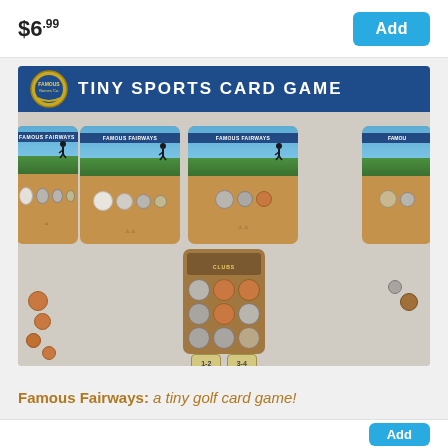$6.99
[Figure (photo): Famous Fairways Tiny Sports Card Game product photo showing game cards with golf course artwork and coins arranged on a wooden surface, with a club card in the center.]
Famous Fairways: a tiny golf card game!